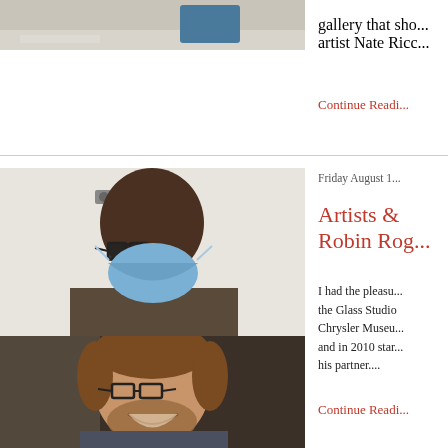[Figure (photo): Partial top photo showing a room/studio scene with blue object, partially cropped]
gallery that sho... artist Nate Ricc...
Continue Readi...
[Figure (photo): Video call screenshot showing a person wearing glasses and a blue face mask]
[Figure (photo): Video call screenshot showing a smiling man with beard and glasses]
Friday August 1...
Artists & Robin Rog...
I had the pleasu... the Glass Studio Chrysler Museu... and in 2010 star... his partner....
Continue Readi...